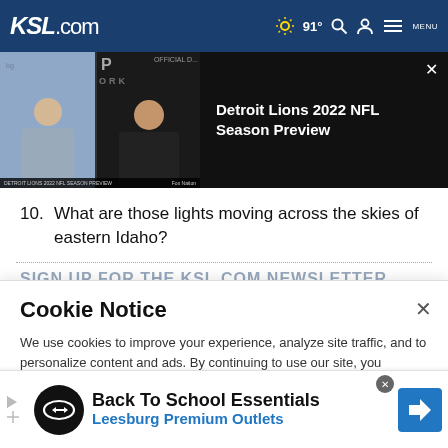KSL.com  91°  [Search] [Account] [Menu]
[Figure (screenshot): Video thumbnail showing two people in a split-screen video call, with text overlay 'Detroit Lions 2022 NFL Season Preview'. Left person in grey shirt, right person in dark shirt in a studio. Bottom caption bar reads 'DETROIT LIONS 2022 NFL SEASON PREVIEW' and 'Fox Nation'. Close button (×) at top right.]
10.  What are those lights moving across the skies of eastern Idaho?
SIGN UP FOR THE KSL.COM NEWSLETTER
Cookie Notice
We use cookies to improve your experience, analyze site traffic, and to personalize content and ads. By continuing to use our site, you consent to our use of cookies. Please visit our Terms of Use and  Privacy Policy for more information
[Figure (infographic): Advertisement for Leesburg Premium Outlets - Back To School Essentials. Shows black circle logo with double-arrow symbol, 'Back To School Essentials' in bold black text, 'Leesburg Premium Outlets' in blue text, and a blue navigation arrow icon on right.]